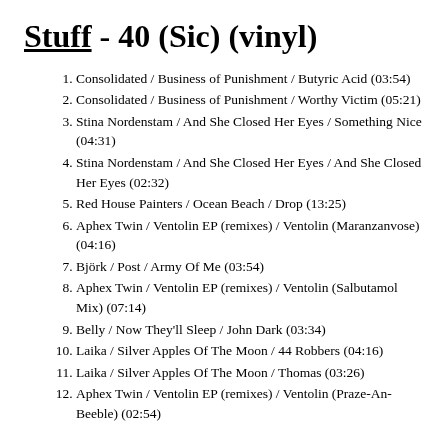Stuff - 40 (Sic) (vinyl)
Consolidated / Business of Punishment / Butyric Acid (03:54)
Consolidated / Business of Punishment / Worthy Victim (05:21)
Stina Nordenstam / And She Closed Her Eyes / Something Nice (04:31)
Stina Nordenstam / And She Closed Her Eyes / And She Closed Her Eyes (02:32)
Red House Painters / Ocean Beach / Drop (13:25)
Aphex Twin / Ventolin EP (remixes) / Ventolin (Maranzanvose) (04:16)
Björk / Post / Army Of Me (03:54)
Aphex Twin / Ventolin EP (remixes) / Ventolin (Salbutamol Mix) (07:14)
Belly / Now They'll Sleep / John Dark (03:34)
Laika / Silver Apples Of The Moon / 44 Robbers (04:16)
Laika / Silver Apples Of The Moon / Thomas (03:26)
Aphex Twin / Ventolin EP (remixes) / Ventolin (Praze-An-Beeble) (02:54)